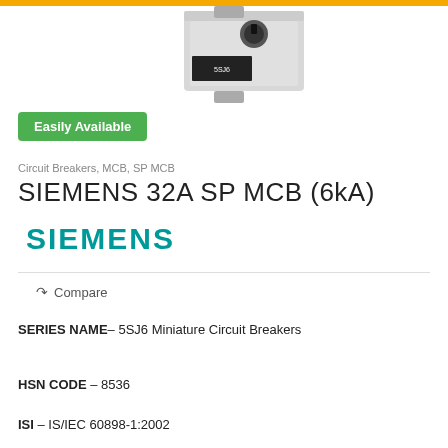[Figure (photo): Photo of Siemens MCB circuit breaker, gray rectangular device with rotary knob on top]
Easily Available
Circuit Breakers, MCB, SP MCB
SIEMENS 32A SP MCB (6kA)
[Figure (logo): SIEMENS brand logo in teal/cyan color]
Compare
SERIES NAME– 5SJ6 Miniature Circuit Breakers
HSN CODE – 8536
ISI – IS/IEC 60898-1:2002